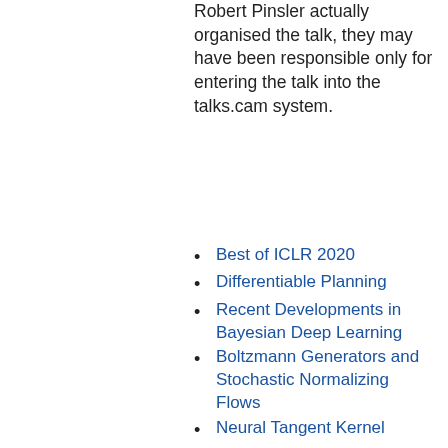Robert Pinsler actually organised the talk, they may have been responsible only for entering the talk into the talks.cam system.
Best of ICLR 2020
Differentiable Planning
Recent Developments in Bayesian Deep Learning
Boltzmann Generators and Stochastic Normalizing Flows
Neural Tangent Kernel
Scalable Gaussian Processes
Probabilistic Programming
Neural Attention
Equivariance and Symmetries in CNNs
Hamiltonian Monte Carlo for Hierarchical Models
Sampling as Optimization
Causal Inference and